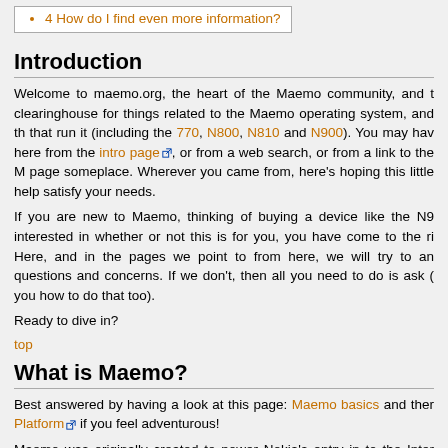4 How do I find even more information?
Introduction
Welcome to maemo.org, the heart of the Maemo community, and the clearinghouse for things related to the Maemo operating system, and the devices that run it (including the 770, N800, N810 and N900). You may have come here from the intro page, or from a web search, or from a link to the Maemo page someplace. Wherever you came from, here's hoping this little guide will help satisfy your needs.
If you are new to Maemo, thinking of buying a device like the N900, or interested in whether or not this is for you, you have come to the right place. Here, and in the pages we point to from here, we will try to answer your questions and concerns. If we don't, then all you need to do is ask (we'll tell you how to do that too).
Ready to dive in?
top
What is Maemo?
Best answered by having a look at this page: Maemo basics and then the Platform if you feel adventurous!
Maemo was originally created to power Nokia's entry in to the Internet market. The first device to make use of Maemo was the Nokia 770 in...